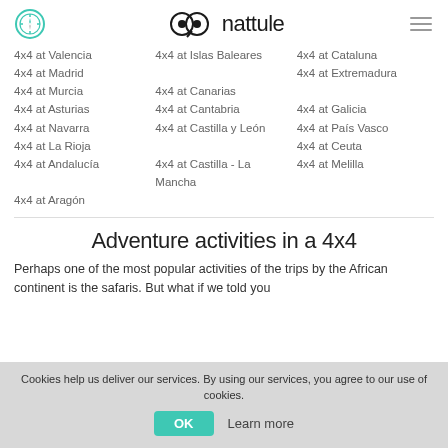nattule
4x4 at Valencia
4x4 at Madrid
4x4 at Murcia
4x4 at Asturias
4x4 at Navarra
4x4 at La Rioja
4x4 at Andalucía
4x4 at Aragón
4x4 at Islas Baleares
4x4 at Canarias
4x4 at Cantabria
4x4 at Castilla y León
4x4 at Castilla - La Mancha
4x4 at Cataluna
4x4 at Extremadura
4x4 at Galicia
4x4 at País Vasco
4x4 at Ceuta
4x4 at Melilla
Adventure activities in a 4x4
Perhaps one of the most popular activities of the trips by the African continent is the safaris. But what if we told you
Cookies help us deliver our services. By using our services, you agree to our use of cookies.